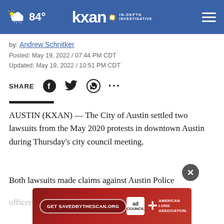84° KXAN IN-DEPTH INVESTIGATIVE
by: Andrew Schnitker
Posted: May 19, 2022 / 07:44 PM CDT
Updated: May 19, 2022 / 10:51 PM CDT
SHARE [Facebook] [Twitter] [WhatsApp] [...]
AUSTIN (KXAN) — The City of Austin settled two lawsuits from the May 2020 protests in downtown Austin during Thursday's city council meeting.
Both lawsuits made claims against Austin Police officers, a city spokesperson told KXAN.
[Figure (other): Advertisement banner for SAVEDBYTHESCAN.ORG by Ad Council and American Lung Association, with a close/X button overlay]